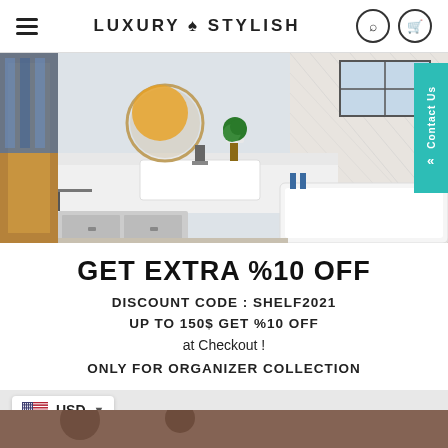LUXURY ♠ STYLISH
[Figure (photo): Bathroom interior with white sink vanity, round mirror, green topiary plant, white herringbone tile wall, and white bathtub]
GET EXTRA %10 OFF
DISCOUNT CODE : Shelf2021
UP TO 150$ GET %10 OFF
at Checkout !
ONLY FOR ORGANIZER COLLECTION
USD
[Figure (photo): Bottom portion of another product image]